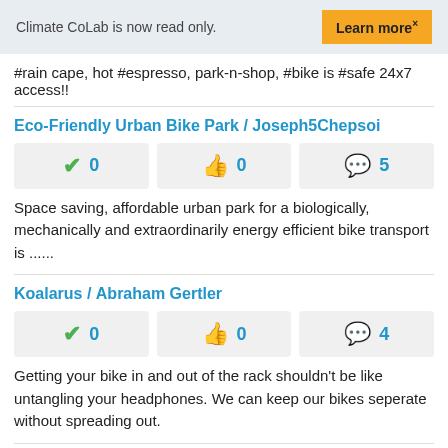Climate CoLab is now read only.  Learn more ×
#rain cape, hot #espresso, park-n-shop, #bike is #safe 24x7 access!!
Eco-Friendly Urban Bike Park / Joseph5Chepsoi
| votes | likes | comments |
| --- | --- | --- |
| 0 | 0 | 5 |
Space saving, affordable urban park for a biologically, mechanically and extraordinarily energy efficient bike transport is ......
Koalarus / Abraham Gertler
| votes | likes | comments |
| --- | --- | --- |
| 0 | 0 | 4 |
Getting your bike in and out of the rack shouldn't be like untangling your headphones. We can keep our bikes seperate without spreading out.
High Density Bicycle Storage Solution / MADRAX